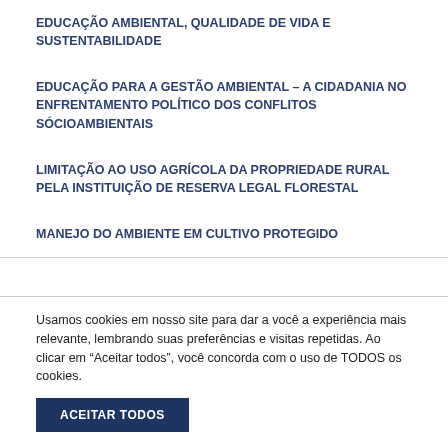EDUCAÇÃO AMBIENTAL, QUALIDADE DE VIDA E SUSTENTABILIDADE
EDUCAÇÃO PARA A GESTÃO AMBIENTAL – A CIDADANIA NO ENFRENTAMENTO POLÍTICO DOS CONFLITOS SÓCIOAMBIENTAIS
LIMITAÇÃO AO USO AGRÍCOLA DA PROPRIEDADE RURAL PELA INSTITUIÇÃO DE RESERVA LEGAL FLORESTAL
MANEJO DO AMBIENTE EM CULTIVO PROTEGIDO
Usamos cookies em nosso site para dar a você a experiência mais relevante, lembrando suas preferências e visitas repetidas. Ao clicar em “Aceitar todos”, você concorda com o uso de TODOS os cookies.
ACEITAR TODOS